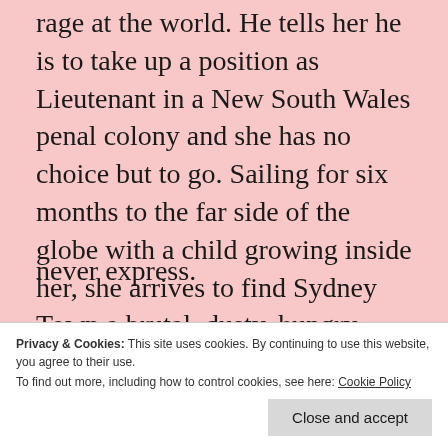rage at the world. He tells her he is to take up a position as Lieutenant in a New South Wales penal colony and she has no choice but to go. Sailing for six months to the far side of the globe with a child growing inside her, she arrives to find Sydney Town a brutal, dusty, hungry place of makeshift shelters, failing crops, scheming and rumours.
All her life she has learned to be obliging, to fold herself up small. Now, in the vast
never express.
Privacy & Cookies: This site uses cookies. By continuing to use this website, you agree to their use.
To find out more, including how to control cookies, see here: Cookie Policy